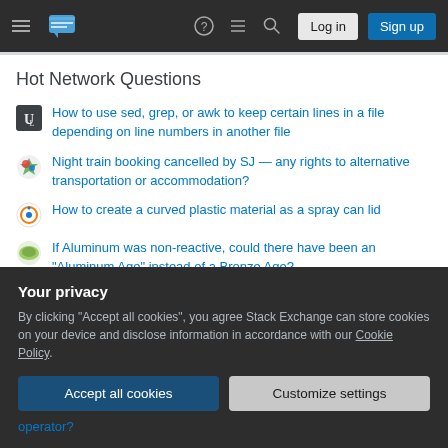Hot Network Questions — Stack Exchange navigation bar with Log in and Sign up buttons
Hot Network Questions
How to use sed, grep, or awk to keep certain lines in a file depending on line numbers in another file
Night train booking cancelled by SJ — any rights to alternative transportation or accommodation?
How to create a curved plastic material as a spray can lid
If Aluminum was non-reactive, could there have been an "Aluminum Age" instead of a Bronze Age?
Why are the units of a sampled signal Volts*Hertz?
In the original Rogue Trader, there were female Space Marines right?
Your privacy
By clicking "Accept all cookies", you agree Stack Exchange can store cookies on your device and disclose information in accordance with our Cookie Policy.
operator?